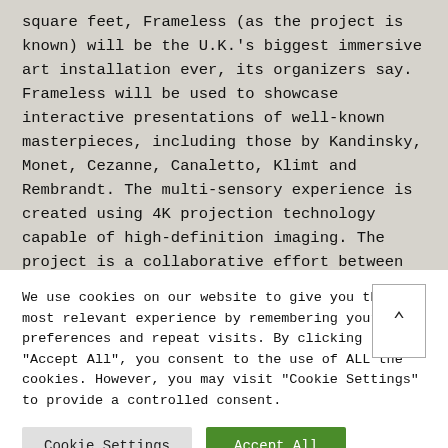square feet, Frameless (as the project is known) will be the U.K.'s biggest immersive art installation ever, its organizers say. Frameless will be used to showcase interactive presentations of well-known masterpieces, including those by Kandinsky, Monet, Cezanne, Canaletto, Klimt and Rembrandt. The multi-sensory experience is created using 4K projection technology capable of high-definition imaging. The project is a collaborative effort between leaders from the the arts, technology and experiential events
We use cookies on our website to give you the most relevant experience by remembering your preferences and repeat visits. By clicking "Accept All", you consent to the use of ALL the cookies. However, you may visit "Cookie Settings" to provide a controlled consent.